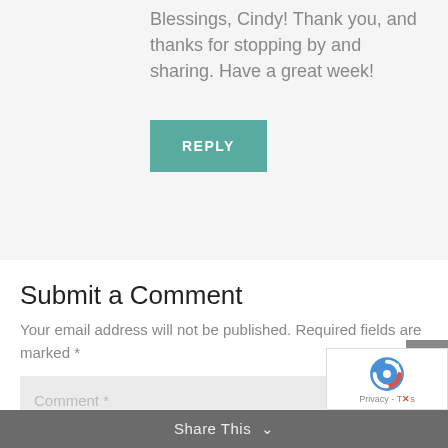Blessings, Cindy! Thank you, and thanks for stopping by and sharing. Have a great week!
REPLY
Submit a Comment
Your email address will not be published. Required fields are marked *
Comment *
Share This